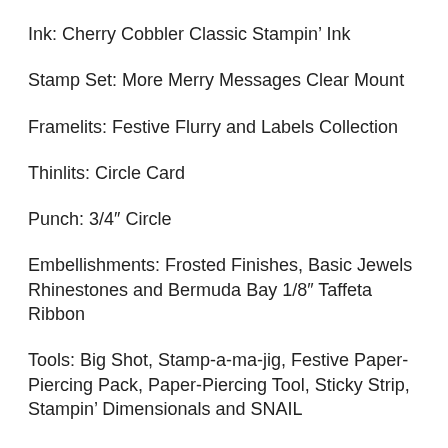Ink: Cherry Cobbler Classic Stampin' Ink
Stamp Set: More Merry Messages Clear Mount
Framelits: Festive Flurry and Labels Collection
Thinlits: Circle Card
Punch: 3/4″ Circle
Embellishments: Frosted Finishes, Basic Jewels Rhinestones and Bermuda Bay 1/8″ Taffeta Ribbon
Tools: Big Shot, Stamp-a-ma-jig, Festive Paper-Piercing Pack, Paper-Piercing Tool, Sticky Strip, Stampin' Dimensionals and SNAIL